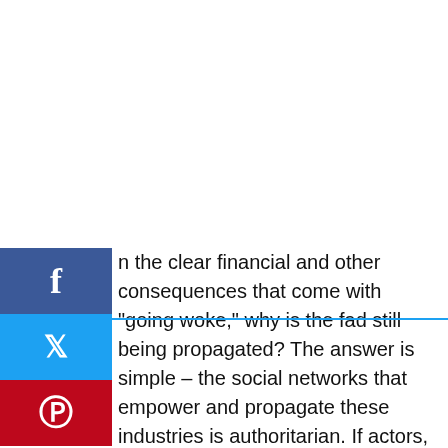[Figure (other): Social media sharing sidebar buttons: Facebook (blue), Twitter (light blue with divider), Pinterest (red), with icons f, bird, p]
the clear financial and other consequences that come with "going woke," why is the fad still being propagated? The answer is simple – the social networks that empower and propagate these industries is authoritarian. If actors, authors, musicians, athletes, etc. publicly dissent from woke orthodoxy, their careers would be over. They would be banished from the high-status social network. It works exactly the same way that the Test Acts did in Restoration